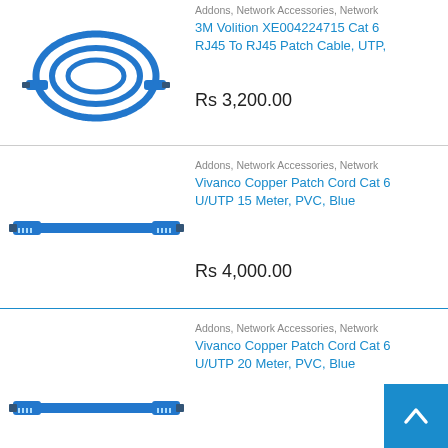Addons, Network Accessories, Network
3M Volition XE004224715 Cat 6 RJ45 To RJ45 Patch Cable, UTP,
[Figure (photo): Blue coiled Cat6 RJ45 patch cable product photo]
Rs 3,200.00
Addons, Network Accessories, Network
Vivanco Copper Patch Cord Cat 6 U/UTP 15 Meter, PVC, Blue
[Figure (photo): Blue straight Cat6 U/UTP 15 meter patch cable product photo]
Rs 4,000.00
Addons, Network Accessories, Network
Vivanco Copper Patch Cord Cat 6 U/UTP 20 Meter, PVC, Blue
[Figure (photo): Blue straight Cat6 U/UTP 20 meter patch cable product photo (partial)]